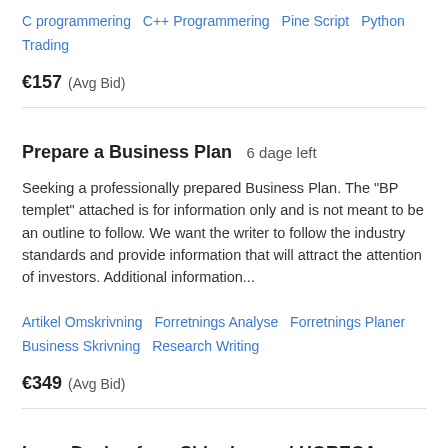C programmering  C++ Programmering  Pine Script  Python  Trading
€157  (Avg Bid)
Prepare a Business Plan  6 dage left
Seeking a professionally prepared Business Plan. The "BP templet" attached is for information only and is not meant to be an outline to follow. We want the writer to follow the industry standards and provide information that will attract the attention of investors. Additional information...
Artikel Omskrivning  Forretnings Analyse  Forretnings Planer  Business Skrivning  Research Writing
€349  (Avg Bid)
Logo Design for a Shipping and HORECA Company (1 logo)  6 dage left